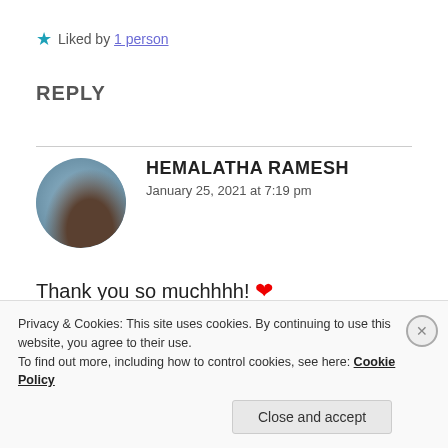★ Liked by 1 person
REPLY
[Figure (photo): Circular avatar photo of Hemalatha Ramesh — blurred outdoor photo with blue sky and a figure]
HEMALATHA RAMESH
January 25, 2021 at 7:19 pm
Thank you so muchhhh! ❤
★ Like
Privacy & Cookies: This site uses cookies. By continuing to use this website, you agree to their use.
To find out more, including how to control cookies, see here: Cookie Policy
Close and accept